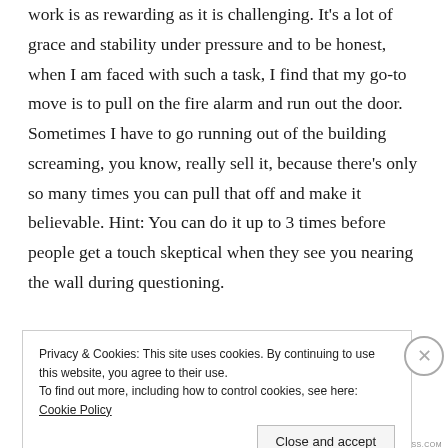work is as rewarding as it is challenging. It's a lot of grace and stability under pressure and to be honest, when I am faced with such a task, I find that my go-to move is to pull on the fire alarm and run out the door. Sometimes I have to go running out of the building screaming, you know, really sell it, because there's only so many times you can pull that off and make it believable. Hint: You can do it up to 3 times before people get a touch skeptical when they see you nearing the wall during questioning.
In the end, my point is: Irait le more critical flames the
Privacy & Cookies: This site uses cookies. By continuing to use this website, you agree to their use.
To find out more, including how to control cookies, see here: Cookie Policy
Close and accept